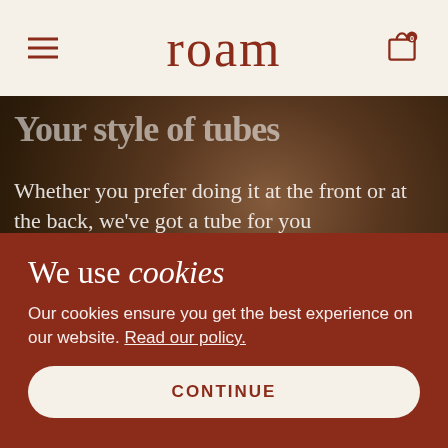roam
[Figure (photo): Dark, blurred background photo of a person handling fabric or bedding, with text overlaid. Shows hands and light-colored textiles in dim warm lighting.]
Your style of tubes
Whether you prefer doing it at the front or at the back, we've got a tube for you
We use cookies
Our cookies ensure you get the best experience on our website. Read our policy.
CONTINUE